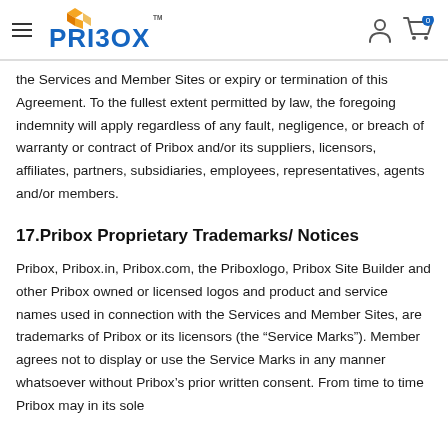PRIBOX
the Services and Member Sites or expiry or termination of this Agreement. To the fullest extent permitted by law, the foregoing indemnity will apply regardless of any fault, negligence, or breach of warranty or contract of Pribox and/or its suppliers, licensors, affiliates, partners, subsidiaries, employees, representatives, agents and/or members.
17.Pribox Proprietary Trademarks/ Notices
Pribox, Pribox.in, Pribox.com, the Priboxlogo, Pribox Site Builder and other Pribox owned or licensed logos and product and service names used in connection with the Services and Member Sites, are trademarks of Pribox or its licensors (the “Service Marks”). Member agrees not to display or use the Service Marks in any manner whatsoever without Pribox’s prior written consent. From time to time Pribox may in its sole